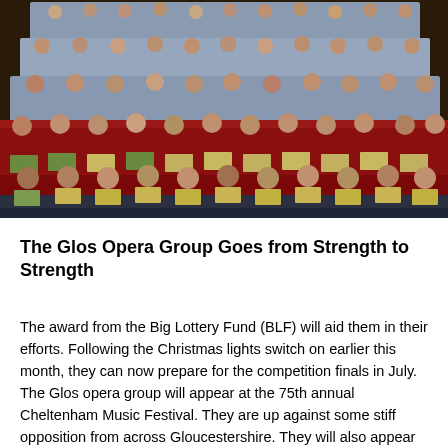[Figure (photo): A large group of men in a choir, arranged in tiered rows. The front rows wear red/crimson sweaters with a small logo, holding sheet music folders. The back rows wear light blue/grey shirts. They appear to be performing or rehearsing in an indoor venue.]
The Glos Opera Group Goes from Strength to Strength
The award from the Big Lottery Fund (BLF) will aid them in their efforts. Following the Christmas lights switch on earlier this month, they can now prepare for the competition finals in July. The Glos opera group will appear at the 75th annual Cheltenham Music Festival. They are up against some stiff opposition from across Gloucestershire. They will also appear alongside school groups, professional singers and international performers for the celebrated...